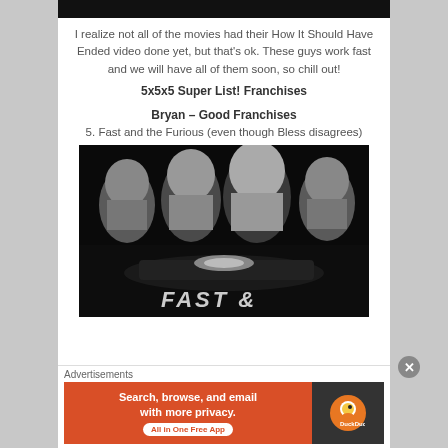[Figure (photo): Black top bar / cropped image at very top of content area]
I realize not all of the movies had their How It Should Have Ended video done yet, but that’s ok. These guys work fast and we will have all of them soon, so chill out!
5x5x5 Super List! Franchises
Bryan – Good Franchises
5. Fast and the Furious (even though Bless disagrees)
[Figure (photo): Fast and the Furious movie poster: black and white image showing four characters' faces above a car, with 'FAST &' text visible at bottom]
Advertisements
[Figure (screenshot): DuckDuckGo advertisement banner: orange left side with 'Search, browse, and email with more privacy. All in One Free App', dark right side with DuckDuckGo logo]